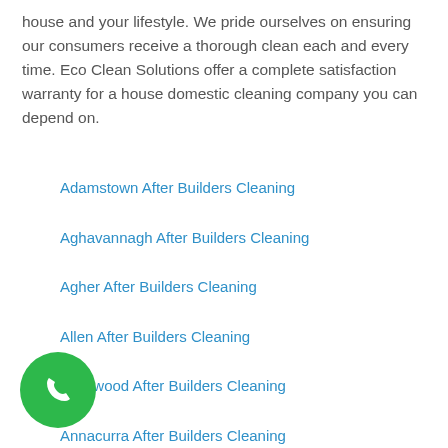house and your lifestyle. We pride ourselves on ensuring our consumers receive a thorough clean each and every time. Eco Clean Solutions offer a complete satisfaction warranty for a house domestic cleaning company you can depend on.
Adamstown After Builders Cleaning
Aghavannagh After Builders Cleaning
Agher After Builders Cleaning
Allen After Builders Cleaning
Allenwood After Builders Cleaning
Annacurra After Builders Cleaning
Annamoe After Builders Cleaning
Ardcath After Builders Cleaning